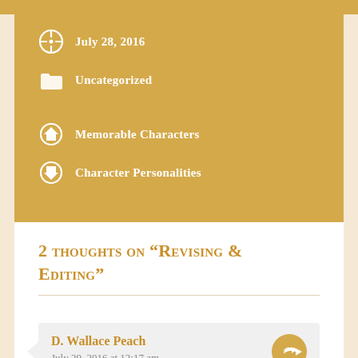July 28, 2016
Uncategorized
Memorable Characters
Character Personalities
2 thoughts on “Revising & Editing”
D. Wallace Peach
July 29, 2016 at 12:17 am